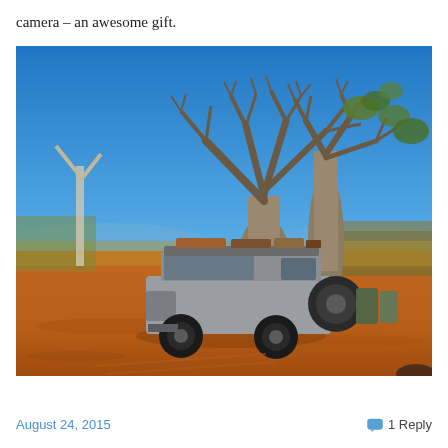camera – an awesome gift.
[Figure (photo): A 4WD vehicle loaded with gear on a roof rack, parked on red dirt outback track in front of large boab/baobab trees under a clear blue sky. Australian outback landscape with dry grass and scrub vegetation.]
August 24, 2015
1 Reply